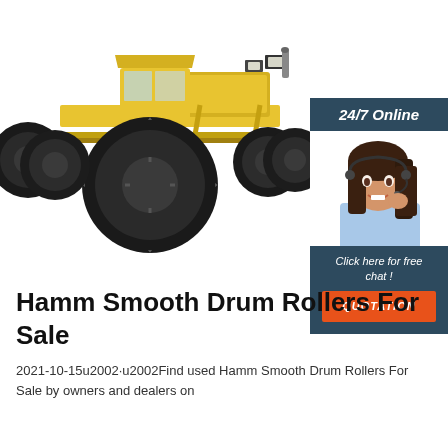[Figure (photo): Yellow motor grader / road grader construction machine on white background, large front tires visible]
[Figure (infographic): 24/7 Online chat widget with dark navy header, female agent with headset, 'Click here for free chat!' text and orange QUOTATION button]
Hamm Smooth Drum Rollers For Sale
2021-10-15u2002·u2002Find used Hamm Smooth Drum Rollers For Sale by owners and dealers on